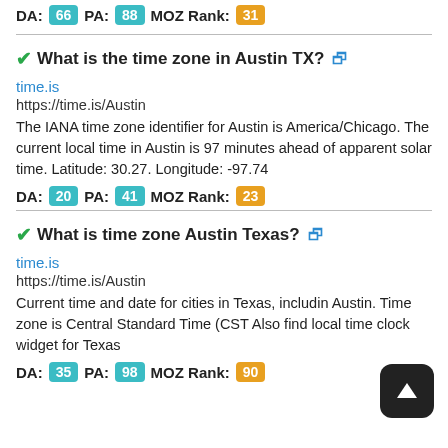DA: 66 PA: 88 MOZ Rank: 31
✓What is the time zone in Austin TX? 🔗
time.is
https://time.is/Austin
The IANA time zone identifier for Austin is America/Chicago. The current local time in Austin is 97 minutes ahead of apparent solar time. Latitude: 30.27. Longitude: -97.74
DA: 20 PA: 41 MOZ Rank: 23
✓What is time zone Austin Texas? 🔗
time.is
https://time.is/Austin
Current time and date for cities in Texas, including Austin. Time zone is Central Standard Time (CST). Also find local time clock widget for Texas
DA: 35 PA: 98 MOZ Rank: 90